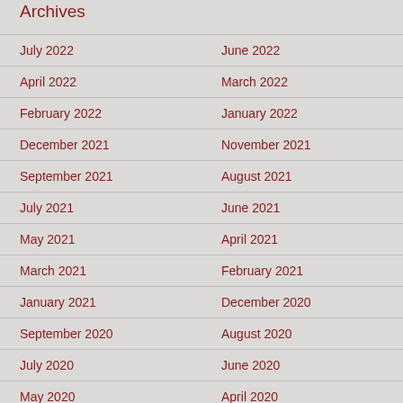Archives
July 2022
June 2022
April 2022
March 2022
February 2022
January 2022
December 2021
November 2021
September 2021
August 2021
July 2021
June 2021
May 2021
April 2021
March 2021
February 2021
January 2021
December 2020
September 2020
August 2020
July 2020
June 2020
May 2020
April 2020
March 2020
February 2020